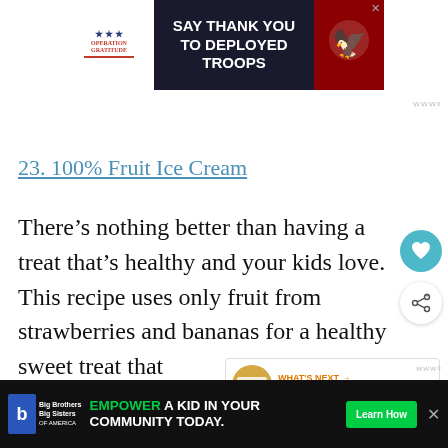[Figure (other): Operation Gratitude advertisement banner: 'SAY THANK YOU TO DEPLOYED TROOPS']
23. 100% Fruit Ice Cream
There's nothing better than having a treat that's healthy and your kids love. This recipe uses only fruit from strawberries and bananas for a healthy sweet treat that...
[Figure (other): Big Brothers Big Sisters advertisement: 'EMPOWER A KID IN YOUR COMMUNITY TODAY.' with Learn How button]
[Figure (other): What's Next overlay: 25 Gluten and Dairy-free...]